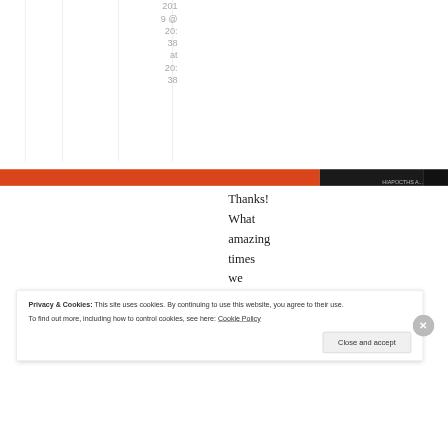2019 @ 20:38 at 20:38
Thanks! What amazing times we
Privacy & Cookies: This site uses cookies. By continuing to use this website, you agree to their use.
To find out more, including how to control cookies, see here: Cookie Policy
Close and accept